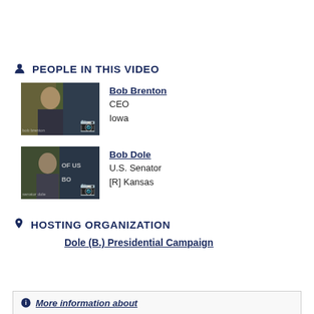PEOPLE IN THIS VIDEO
[Figure (photo): Thumbnail photo of Bob Brenton speaking at a podium with blue background, camera icon overlay]
Bob Brenton
CEO
Iowa
[Figure (photo): Thumbnail photo of Bob Dole speaking at a podium with blue background and text 'OF US', camera icon overlay]
Bob Dole
U.S. Senator
[R] Kansas
HOSTING ORGANIZATION
Dole (B.) Presidential Campaign
More information about